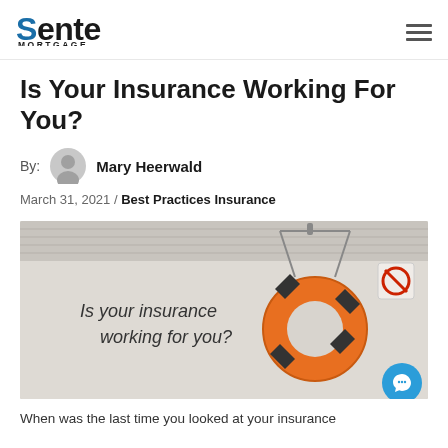Sente MORTGAGE
Is Your Insurance Working For You?
By: Mary Heerwald
March 31, 2021 / Best Practices Insurance
[Figure (photo): Hero image showing an orange life preserver ring hanging on a wall with text overlay 'Is your insurance working for you?' and a no-smoking sign in the upper right corner.]
When was the last time you looked at your insurance